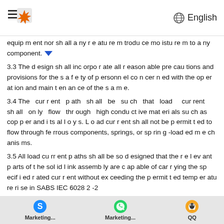English
equipment nor shall any feature introduce moisture to any component.
3.3 The design shall incorporate all reasonable precautions and provisions for the safety of personnel concerned with the operation and maintenance of the same.
3.4 The current path shall be such that load current shall only flow through high conductive materials such as copper and its alloys. Load current shall not be permitted to flow through ferrous components, springs, or spring-loaded mechanisms.
3.5 All load current paths shall be so designed that the relevant parts of the solid link assembly are capable of carrying the specified rated current without exceeding the permitted temperature rise in SABS IEC 6028 2 -2
3.6 Contacts shall be based on the line contact principle and there shall be no welds on the contact parts. The construction of the fuse base and the link shall ensure the...